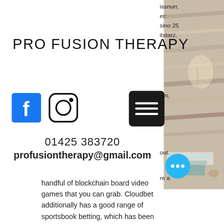PRO FUSION THERAPY
[Figure (logo): Facebook icon (blue square with white f)]
[Figure (logo): Instagram icon (circle with camera outline)]
[Figure (other): Hamburger menu button (dark square with three horizontal white lines)]
01425 383720
profusiontherapy@gmail.com
handful of blockchain board video games that you can grab. Cloudbet additionally has a good range of sportsbook betting, which has been working since its launch in 2013, bitstarz casino 25 gratissnurr. [pl_row pagelayer-id=&quot;v3x6531&quot; stretch=&quot;auto&quot; col_gap=&quot;10&quot; width_content=&quot;auto&quot; row_height=&quot;default&quot;
[Figure (photo): Right side panel showing a spa/massage room with wooden walls, light/lamp, and towels on a massage table]